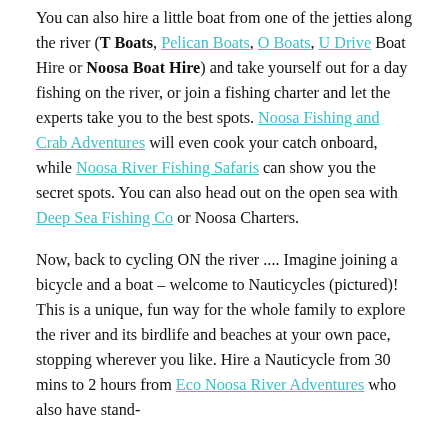You can also hire a little boat from one of the jetties along the river (T Boats, Pelican Boats, O Boats, U Drive Boat Hire or Noosa Boat Hire) and take yourself out for a day fishing on the river, or join a fishing charter and let the experts take you to the best spots. Noosa Fishing and Crab Adventures will even cook your catch onboard, while Noosa River Fishing Safaris can show you the secret spots. You can also head out on the open sea with Deep Sea Fishing Co or Noosa Charters.
Now, back to cycling ON the river .... Imagine joining a bicycle and a boat – welcome to Nauticycles (pictured)! This is a unique, fun way for the whole family to explore the river and its birdlife and beaches at your own pace, stopping wherever you like. Hire a Nauticycle from 30 mins to 2 hours from Eco Noosa River Adventures who also have stand-